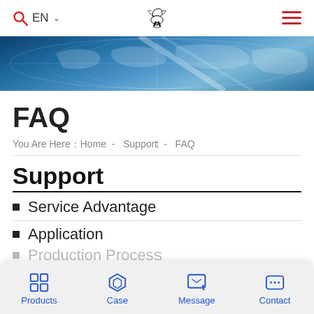EN | [search icon] | [hamburger menu] | [logo]
[Figure (photo): Blue world map banner image with light rays and globe overlay]
FAQ
You Are Here Home - Support - FAQ
Support
Service Advantage
Application
Production Process
Products | Case | Message | Contact